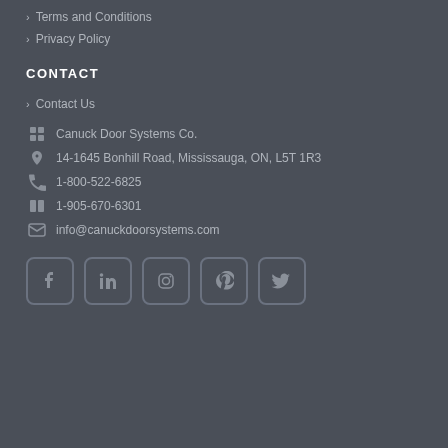Terms and Conditions
Privacy Policy
CONTACT
Contact Us
Canuck Door Systems Co.
14-1645 Bonhill Road, Mississauga, ON, L5T 1R3
1-800-522-6825
1-905-670-6301
info@canuckdoorsystems.com
[Figure (other): Social media icons row: Facebook, LinkedIn, Instagram, Pinterest, Twitter — each in a rounded square outline button]